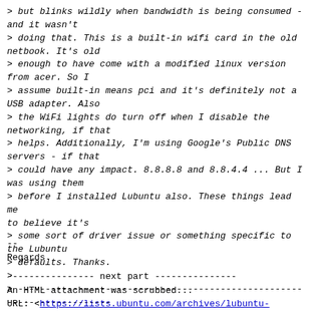> but blinks wildly when bandwidth is being consumed - and it wasn't
> doing that. This is a built-in wifi card in the old netbook. It's old
> enough to have come with a modified linux version from acer. So I
> assume built-in means pci and it's definitely not a USB adapter. Also
> the WiFi lights do turn off when I disable the networking, if that
> helps. Additionally, I'm using Google's Public DNS servers - if that
> could have any impact. 8.8.8.8 and 8.8.4.4 ... But I was using them
> before I installed Lubuntu also. These things lead me to believe it's
> some sort of driver issue or something specific to the Lubuntu
> defaults. Thanks.
>
> -----------------------------------------------------------------------
--------------------
>  **
--
Regards
---------------- next part ---------------
An HTML attachment was scrubbed...
URL: <https://lists.ubuntu.com/archives/lubuntu-